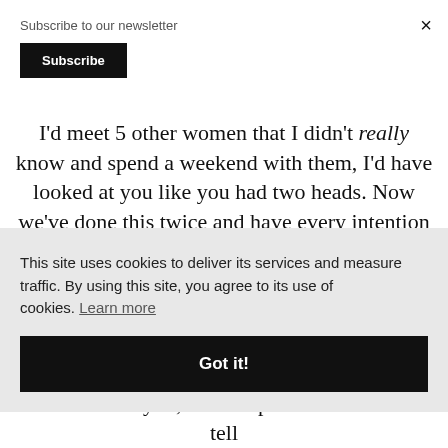Subscribe to our newsletter
Subscribe
×
I'd meet 5 other women that I didn't really know and spend a weekend with them, I'd have looked at you like you had two heads. Now we've done this twice and have every intention of making it yearly. We are just the best friends can ur
This site uses cookies to deliver its services and measure traffic. By using this site, you agree to its use of cookies. Learn more
Got it!
d still me well will tell you, I'm an open book. I cannot tell